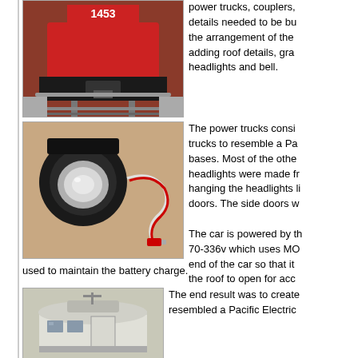[Figure (photo): Front end of a red locomotive numbered 1453 on model railroad tracks outdoors]
power trucks, couplers, details needed to be bu the arrangement of the adding roof details, gra headlights and bell.
[Figure (photo): A large flashlight-style headlight with wiring including a red connector plug]
The power trucks consi trucks to resemble a Pa bases. Most of the othe headlights were made fr hanging the headlights li doors. The side doors w
The car is powered by th 70-336v which uses MO end of the car so that it the roof to open for acc used to maintain the battery charge.
[Figure (photo): Black and white photo of a Pacific Electric style railcar end with rounded roof]
The end result was to create resembled a Pacific Electric